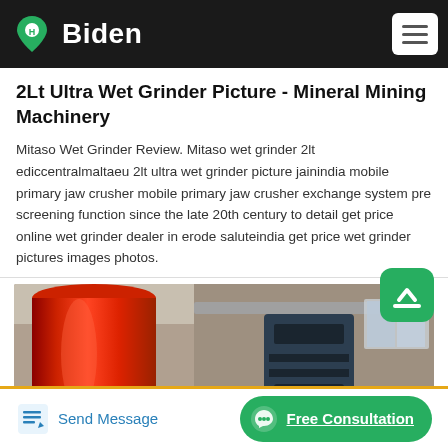Biden
2Lt Ultra Wet Grinder Picture - Mineral Mining Machinery
Mitaso Wet Grinder Review. Mitaso wet grinder 2lt ediccentralmaltaeu 2lt ultra wet grinder picture jainindia mobile primary jaw crusher mobile primary jaw crusher exchange system pre screening function since the late 20th century to detail get price online wet grinder dealer in erode saluteindia get price wet grinder pictures images photos.
[Figure (photo): Industrial machinery photo showing large orange/red cylindrical vessel on the left and dark industrial equipment on the right, inside a warehouse setting.]
Send Message | Free Consultation